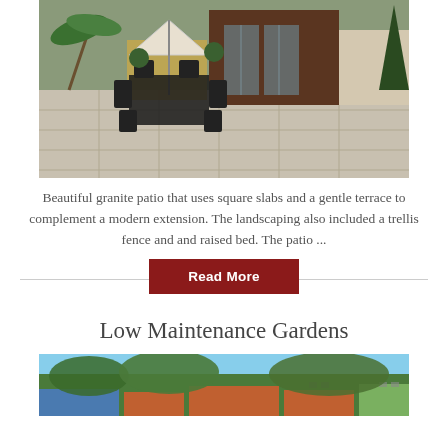[Figure (photo): Photograph of a granite patio with black outdoor furniture and umbrella, trellis fence, topiary, and a modern wooden extension building with glass doors in the background.]
Beautiful granite patio that uses square slabs and a gentle terrace to complement a modern extension. The landscaping also included a trellis fence and and raised bed. The patio ...
Read More
Low Maintenance Gardens
[Figure (photo): Partial photograph of a garden scene with greenery and rooftops visible, cropped at the bottom of the page.]